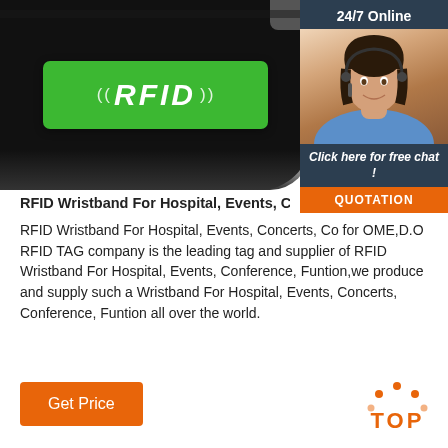[Figure (photo): RFID wristband/bracelet with green RFID tag showing the text ((RFID)) in white italic letters on a green rectangular patch, attached to a black band]
[Figure (photo): 24/7 Online customer service box showing a female agent wearing a headset, with 'Click here for free chat!' text and an orange QUOTATION button]
RFID Wristband For Hospital, Events, Concerts, Co
RFID Wristband For Hospital, Events, Concerts, Co for OME,D.O RFID TAG company is the leading tag and supplier of RFID Wristband For Hospital, Events Conference, Funtion,we produce and supply such a Wristband For Hospital, Events, Concerts, Conference, Funtion all over the world.
[Figure (other): Orange 'Get Price' button at bottom left]
[Figure (other): Orange TOP badge with dots at bottom right]